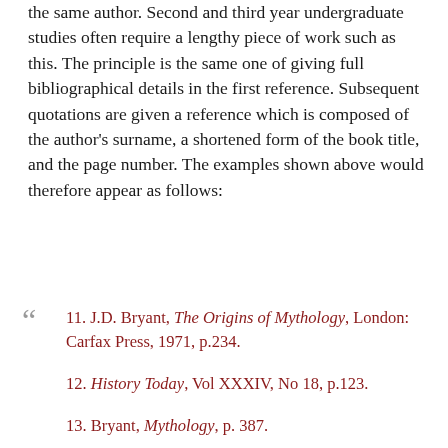the same author. Second and third year undergraduate studies often require a lengthy piece of work such as this. The principle is the same one of giving full bibliographical details in the first reference. Subsequent quotations are given a reference which is composed of the author's surname, a shortened form of the book title, and the page number. The examples shown above would therefore appear as follows:
11. J.D. Bryant, The Origins of Mythology, London: Carfax Press, 1971, p.234.
12. History Today, Vol XXXIV, No 18, p.123.
13. Bryant, Mythology, p. 387.